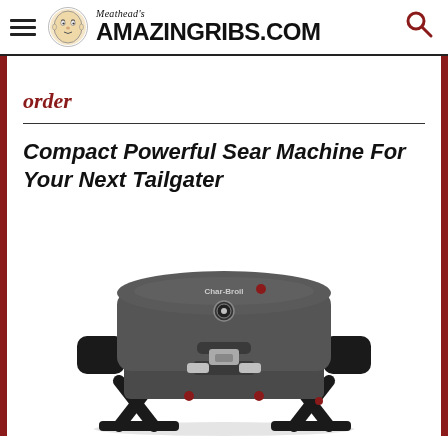Meathead's AmazingRibs.com
order
Compact Powerful Sear Machine For Your Next Tailgater
[Figure (photo): A compact portable gas grill (appears to be a Char-Broil or similar brand) shown from a front-right angle. The grill is dark gray/charcoal colored with black handles and folding legs, featuring chrome latches and red accent screws. The lid is closed and the grill sits on an X-frame stand.]